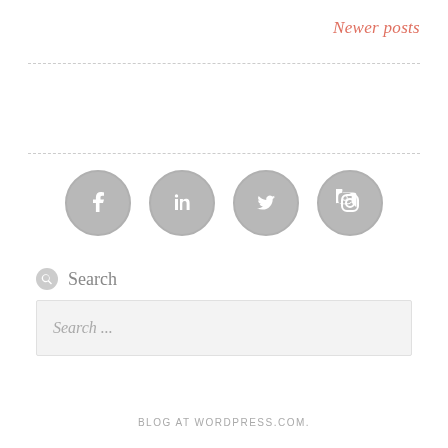Newer posts
[Figure (illustration): Four social media icon circles (Facebook, LinkedIn, Twitter, Instagram) in gray]
Search
Search ...
BLOG AT WORDPRESS.COM.